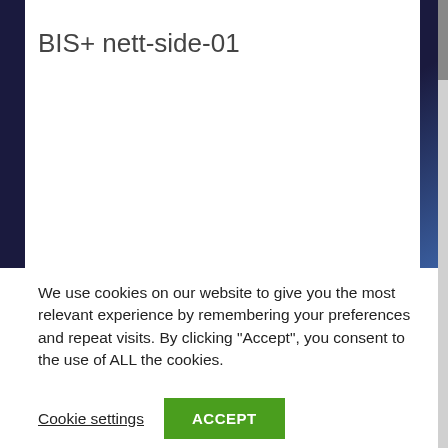BIS+ nett-side-01
We use cookies on our website to give you the most relevant experience by remembering your preferences and repeat visits. By clicking “Accept”, you consent to the use of ALL the cookies.
Cookie settings
ACCEPT